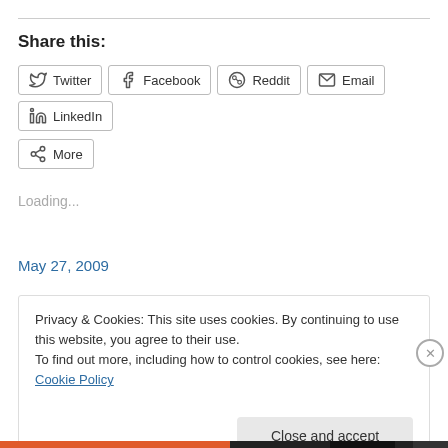Share this:
[Figure (other): Social share buttons: Twitter, Facebook, Reddit, Email, LinkedIn, More]
Loading...
May 27, 2009
Privacy & Cookies: This site uses cookies. By continuing to use this website, you agree to their use.
To find out more, including how to control cookies, see here: Cookie Policy